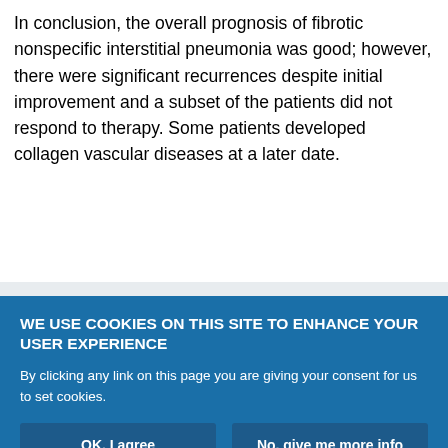In conclusion, the overall prognosis of fibrotic nonspecific interstitial pneumonia was good; however, there were significant recurrences despite initial improvement and a subset of the patients did not respond to therapy. Some patients developed collagen vascular diseases at a later date.
Clinical course
fibrotic nonspecific interstitial pneumonia
pulmonary function test
recurrence
Nonspecific interstitial pneumonia (NSIP) is characterised
WE USE COOKIES ON THIS SITE TO ENHANCE YOUR USER EXPERIENCE
By clicking any link on this page you are giving your consent for us to set cookies.